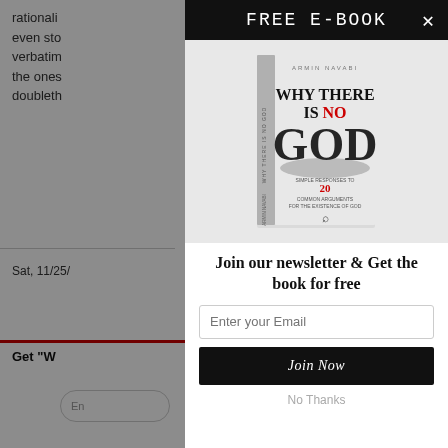rationali even sto verbatim the ones doubleth
Sat, 11/25/
Get "W
FREE E-BOOK
[Figure (photo): Book cover: 'Why There Is No God' by Armin Navabi. White cover with large bold black text 'WHY THERE IS NO GOD' and red text 'NO' and '20'. Subtitle text about common arguments for the existence of God.]
Join our newsletter & Get the book for free
Enter your Email
Join Now
No Thanks